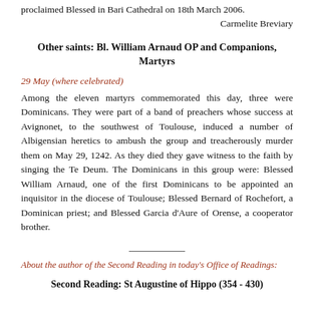proclaimed Blessed in Bari Cathedral on 18th March 2006.
Carmelite Breviary
Other saints: Bl. William Arnaud OP and Companions, Martyrs
29 May (where celebrated)
Among the eleven martyrs commemorated this day, three were Dominicans. They were part of a band of preachers whose success at Avignonet, to the southwest of Toulouse, induced a number of Albigensian heretics to ambush the group and treacherously murder them on May 29, 1242. As they died they gave witness to the faith by singing the Te Deum. The Dominicans in this group were: Blessed William Arnaud, one of the first Dominicans to be appointed an inquisitor in the diocese of Toulouse; Blessed Bernard of Rochefort, a Dominican priest; and Blessed Garcia d'Aure of Orense, a cooperator brother.
About the author of the Second Reading in today's Office of Readings:
Second Reading: St Augustine of Hippo (354 - 430)